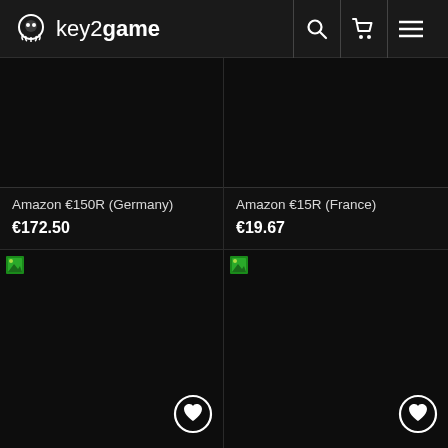key2game
Amazon €150R (Germany)
€172.50
Amazon €15R (France)
€19.67
[Figure (other): Product image placeholder (dark/black), bottom card left]
[Figure (other): Product image placeholder (dark/black), bottom card right]